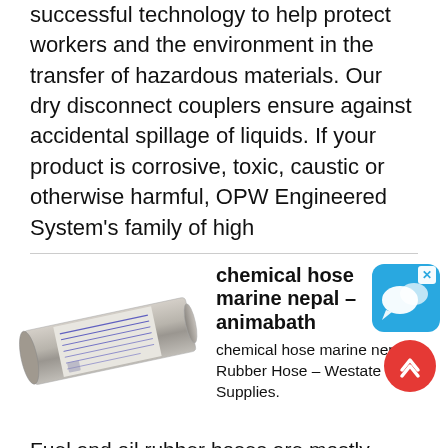successful technology to help protect workers and the environment in the transfer of hazardous materials. Our dry disconnect couplers ensure against accidental spillage of liquids. If your product is corrosive, toxic, caustic or otherwise harmful, OPW Engineered System's family of high
[Figure (photo): A grey/silver flexible industrial hose with white label text, shown angled diagonally.]
chemical hose marine nepal - animabath
[Figure (screenshot): Chat bubble icon on blue rounded square background with X close button]
chemical hose marine nepal . Rubber Hose – Westate Hose Supplies.
Fuel and oil rubber hoses are mostly used in the marine, construction and manufacturing industries. They're able to transfer fluids such as unleaded pet as well as fluids that have an aromatic content of up to 50%. We stock quality rubber hoses for use with petroleum's and oils, including marine ...